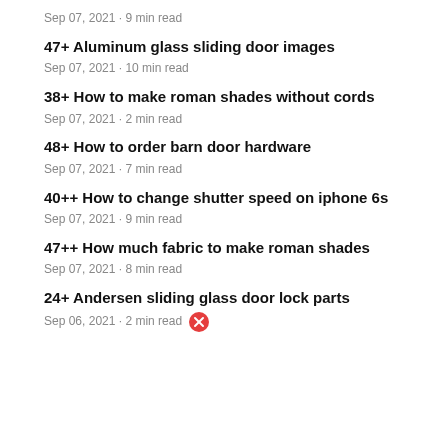Sep 07, 2021 · 9 min read
47+ Aluminum glass sliding door images
Sep 07, 2021 · 10 min read
38+ How to make roman shades without cords
Sep 07, 2021 · 2 min read
48+ How to order barn door hardware
Sep 07, 2021 · 7 min read
40++ How to change shutter speed on iphone 6s
Sep 07, 2021 · 9 min read
47++ How much fabric to make roman shades
Sep 07, 2021 · 8 min read
24+ Andersen sliding glass door lock parts
Sep 06, 2021 · 2 min read